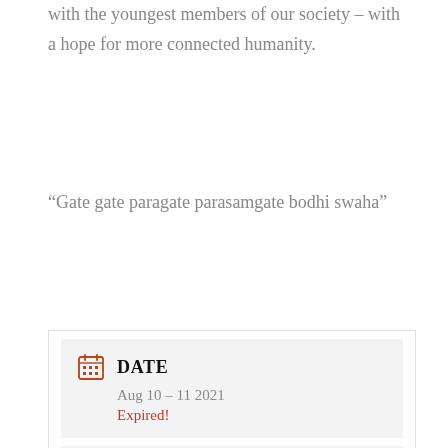with the youngest members of our society – with a hope for more connected humanity.
“Gate gate paragate parasamgate bodhi swaha”
| DATE | Aug 10 – 11 2021 | Expired! |
| TIME | All Day |